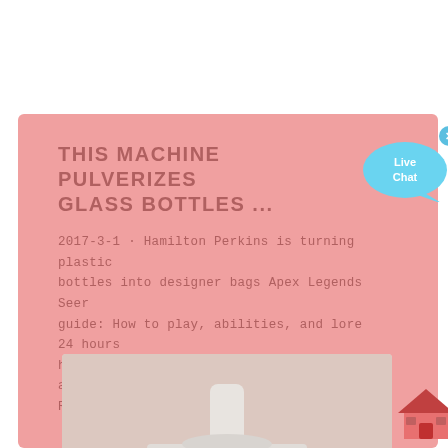THIS MACHINE PULVERIZES GLASS BOTTLES ...
2017-3-1 · Hamilton Perkins is turning plastic bottles into designer bags Apex Legends Seer guide: How to play, abilities, and lore 24 hours hands-on with the iPhone 13, Pro, Max, and Mini Refinements all ...
[Figure (photo): Industrial cone crusher machine (Metso brand) — a white and grey heavy-duty mechanical grinding/pulverizing machine with orange band detail and Metso logo visible.]
[Figure (illustration): Live Chat speech bubble icon in light blue with text 'Live Chat', with a close X button in the top-right corner.]